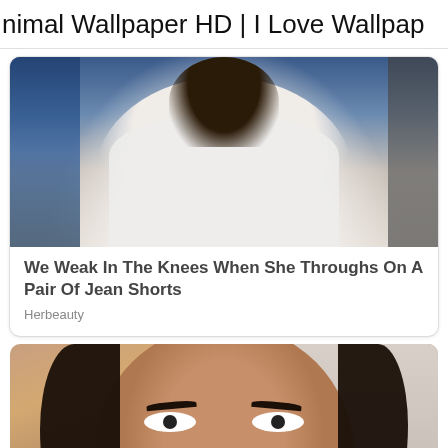nimal Wallpaper HD | I Love Wallpap
[Figure (photo): Photo of a woman in a white knit top, upper body shot, outdoors with a blue car in background]
We Weak In The Knees When She Throughs On A Pair Of Jean Shorts
Herbeauty
[Figure (photo): Closeup portrait photo of a woman with long dark hair and dramatic eye makeup, light background to the right]